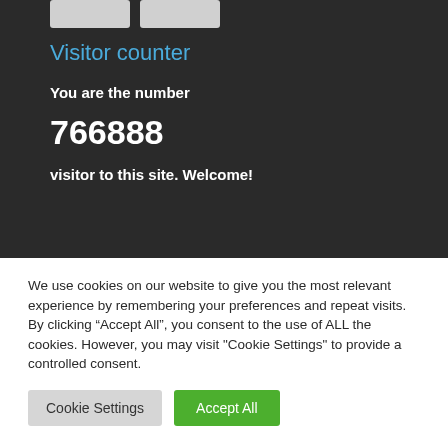[Figure (screenshot): Two grey placeholder buttons at the top of a dark section]
Visitor counter
You are the number
766888
visitor to this site. Welcome!
We use cookies on our website to give you the most relevant experience by remembering your preferences and repeat visits. By clicking “Accept All”, you consent to the use of ALL the cookies. However, you may visit "Cookie Settings" to provide a controlled consent.
Cookie Settings
Accept All